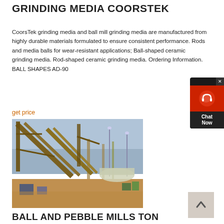GRINDING MEDIA COORSTEK
CoorsTek grinding media and ball mill grinding media are manufactured from highly durable materials formulated to ensure consistent performance. Rods and media balls for wear-resistant applications; Ball-shaped ceramic grinding media. Rod-shaped ceramic grinding media. Ordering Information. BALL SHAPES AD-90
get price
[Figure (photo): Industrial conveyor belt and ball mill equipment at a mining or grinding facility, with yellow metal structures and conveyor belts on a dusty terrain under an overcast sky.]
BALL AND PEBBLE MILLS TON
This reliable, effective grinding technology dates back more than